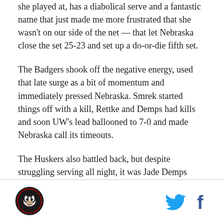she played at, has a diabolical serve and a fantastic name that just made me more frustrated that she wasn't on our side of the net — that let Nebraska close the set 25-23 and set up a do-or-die fifth set.
The Badgers shook off the negative energy, used that late surge as a bit of momentum and immediately pressed Nebraska. Smrek started things off with a kill, Rettke and Demps had kills and soon UW's lead ballooned to 7-0 and made Nebraska call its timeouts.
The Huskers also battled back, but despite struggling serving all night, it was Jade Demps from the service line that gave Wisconsin championship point with an ace on her short serve.
[Figure (logo): Circular team logo badge in bottom left]
[Figure (illustration): Twitter bird icon and Facebook 'f' icon in bottom right]